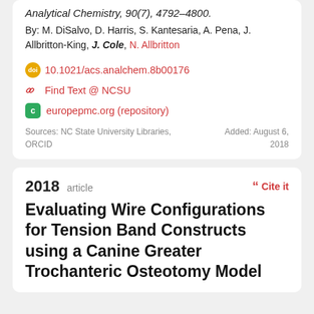Analytical Chemistry, 90(7), 4792–4800.
By: M. DiSalvo, D. Harris, S. Kantesaria, A. Pena, J. Allbritton-King, J. Cole, N. Allbritton
10.1021/acs.analchem.8b00176
Find Text @ NCSU
europepmc.org (repository)
Sources: NC State University Libraries,  Added: August 6, ORCID  2018
2018 article
Evaluating Wire Configurations for Tension Band Constructs using a Canine Greater Trochanteric Osteotomy Model